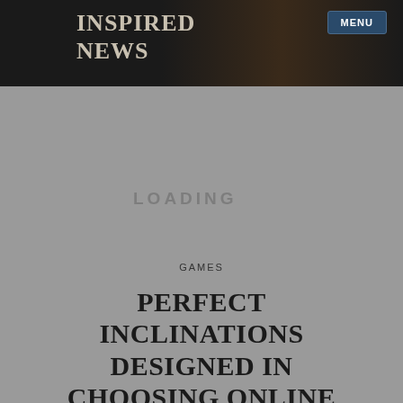INSPIRED NEWS
MENU
GAMES
PERFECT INCLINATIONS DESIGNED IN CHOOSING ONLINE STEAM WALLET GIFT CARDS
PUBLISH ON JUNE 6, 2022  BY NOVA